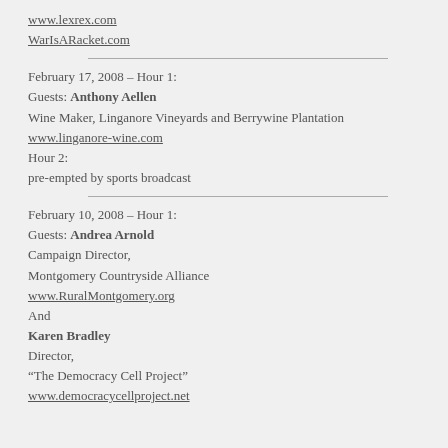www.lexrex.com
WarIsARacket.com
February 17, 2008 – Hour 1:
Guests: Anthony Aellen
Wine Maker, Linganore Vineyards and Berrywine Plantation
www.linganore-wine.com
Hour 2:
pre-empted by sports broadcast
February 10, 2008 – Hour 1:
Guests: Andrea Arnold
Campaign Director,
Montgomery Countryside Alliance
www.RuralMontgomery.org
And
Karen Bradley
Director,
“The Democracy Cell Project”
www.democracycellproject.net